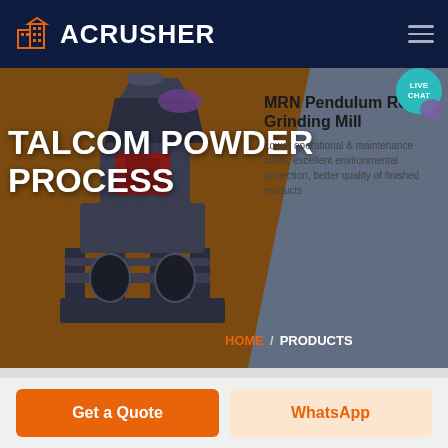ACRUSHER
[Figure (screenshot): Website screenshot showing ACRUSHER brand page for Talcom Powder Process with MRN Pendulum Roller Grinding Mill product card and machine image]
TALCOM POWDER PROCESS
MRN Pendulum Roller Grinding Mill
Lower operational & maintenance costs, excellent environmental protection, better quality of finished products
HOME / PRODUCTS
Get a Quote
WhatsApp